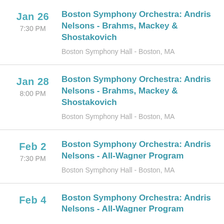Jan 26 7:30 PM | Boston Symphony Orchestra: Andris Nelsons - Brahms, Mackey & Shostakovich | Boston Symphony Hall - Boston, MA
Jan 28 8:00 PM | Boston Symphony Orchestra: Andris Nelsons - Brahms, Mackey & Shostakovich | Boston Symphony Hall - Boston, MA
Feb 2 7:30 PM | Boston Symphony Orchestra: Andris Nelsons - All-Wagner Program | Boston Symphony Hall - Boston, MA
Feb 4 | Boston Symphony Orchestra: Andris Nelsons - All-Wagner Program